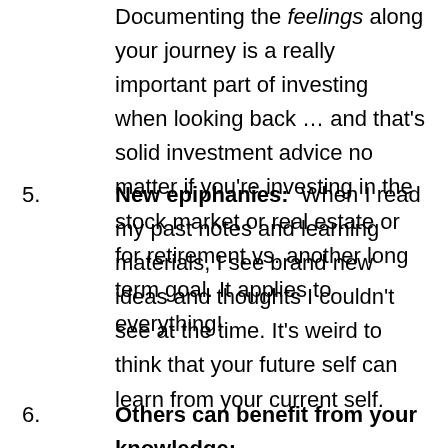Documenting the feelings along your journey is a really important part of investing when looking back … and that's solid investment advice no matter if you're investing in the stock market or real estate or for retirement vs. another long term goal. It applies to everything!
5. New epiphanies: When I read my past notes and learning materials, I see brand new ideas and thoughts I couldn't see at the time. It's weird to think that your future self can learn from your current self.
6. Others can benefit from your knowledge: